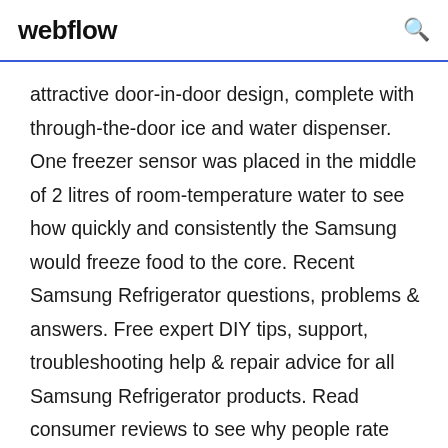webflow
attractive door-in-door design, complete with through-the-door ice and water dispenser. One freezer sensor was placed in the middle of 2 litres of room-temperature water to see how quickly and consistently the Samsung would freeze food to the core. Recent Samsung Refrigerator questions, problems & answers. Free expert DIY tips, support, troubleshooting help & repair advice for all Samsung Refrigerator products. Read consumer reviews to see why people rate Samsung French Door Refrigerator 4.6 out of 5. Also see scores for competitive products